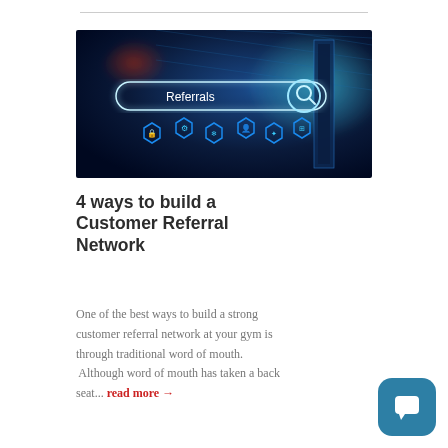[Figure (photo): Dark blue tech/digital background with a glowing search bar containing the word 'Referrals', surrounded by blue hexagonal icons including a lock, settings gear, person, and other digital icons.]
4 ways to build a Customer Referral Network
One of the best ways to build a strong customer referral network at your gym is through traditional word of mouth. Although word of mouth has taken a back seat... read more →